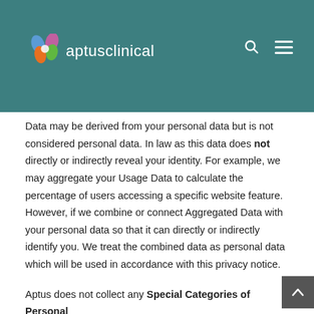[Figure (logo): Aptus Clinical logo with colorful overlapping circles icon and white text 'aptusclinical' on teal background, with search and menu icons on the right]
Data may be derived from your personal data but is not considered personal data. In law as this data does not directly or indirectly reveal your identity. For example, we may aggregate your Usage Data to calculate the percentage of users accessing a specific website feature. However, if we combine or connect Aggregated Data with your personal data so that it can directly or indirectly identify you. We treat the combined data as personal data which will be used in accordance with this privacy notice.
Aptus does not collect any Special Categories of Personal